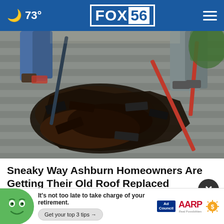🌙 73° | FOX 56
[Figure (photo): Workers removing old shingles from a rooftop. Tools including a red-handled bar are visible. Two workers' legs visible, wearing jeans and work pants. Debris of old shingles scattered on the grey roof surface.]
Sneaky Way Ashburn Homeowners Are Getting Their Old Roof Replaced
Smart
[Figure (infographic): AARP advertisement banner: green mascot face on left, tagline 'It's not too late to take charge of your retirement.', button 'Get your top 3 tips →', Ad Council logo, AARP logo with tagline 'Real Possibilities', sun icon on right.]